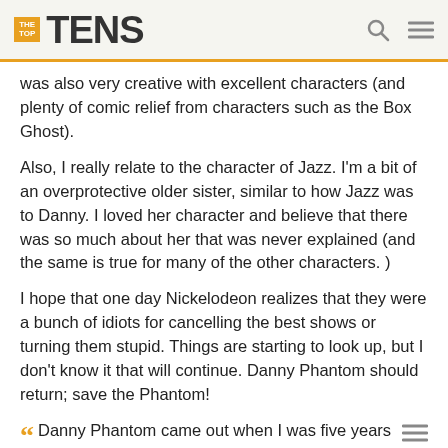TheTopTens
was also very creative with excellent characters (and plenty of comic relief from characters such as the Box Ghost).
Also, I really relate to the character of Jazz. I'm a bit of an overprotective older sister, similar to how Jazz was to Danny. I loved her character and believe that there was so much about her that was never explained (and the same is true for many of the other characters. )
I hope that one day Nickelodeon realizes that they were a bunch of idiots for cancelling the best shows or turning them stupid. Things are starting to look up, but I don't know it that will continue. Danny Phantom should return; save the Phantom!
Danny Phantom came out when I was five years old. I was really young and I remember how much I loved and still love that show. It's been nine years and I'm still watching it on Nicktoons. Now that I'm older, the jokes are even funnier because I remember and understand them, and since I'm a teen, I can very